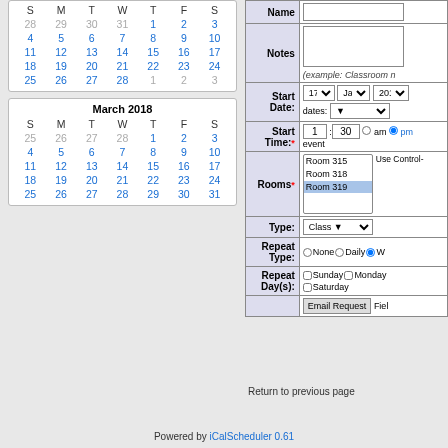[Figure (screenshot): Calendar for February 2018 (partial, top cut off) showing dates with S M T W T F S headers and dates 28-3, 4-10, 11-17, 18-24, 25-28 1-3 in blue]
[Figure (screenshot): Calendar for March 2018 showing S M T W T F S headers and full month dates 25-31 in blue]
[Figure (screenshot): Scheduling form with fields: Name, Notes, Start Date (17 Jan 2018), Start Time (1:30 pm), Rooms (Room 315, Room 318, Room 319 selected), Type (Class), Repeat Type (Weekly selected), Repeat Days (Sunday, Monday, Saturday checkboxes), Email Request button]
Return to previous page
Powered by iCalScheduler 0.61